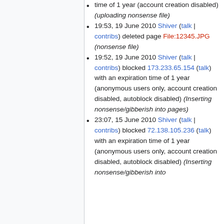time of 1 year (account creation disabled) (uploading nonsense file)
19:53, 19 June 2010 Shiver (talk | contribs) deleted page File:12345.JPG (nonsense file)
19:52, 19 June 2010 Shiver (talk | contribs) blocked 173.233.65.154 (talk) with an expiration time of 1 year (anonymous users only, account creation disabled, autoblock disabled) (Inserting nonsense/gibberish into pages)
23:07, 15 June 2010 Shiver (talk | contribs) blocked 72.138.105.236 (talk) with an expiration time of 1 year (anonymous users only, account creation disabled, autoblock disabled) (Inserting nonsense/gibberish into